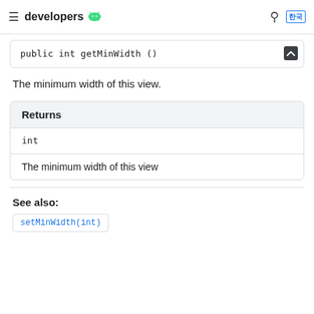developers
public int getMinWidth ()
The minimum width of this view.
| Returns |
| --- |
| int |
| The minimum width of this view |
See also:
setMinWidth(int)